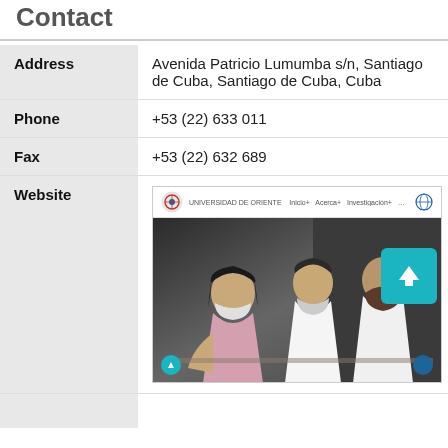Contact
| Field | Value |
| --- | --- |
| Address | Avenida Patricio Lumumba s/n, Santiago de Cuba, Santiago de Cuba, Cuba |
| Phone | +53 (22) 633 011 |
| Fax | +53 (22) 632 689 |
| Website | [screenshot of Universidad de Oriente website] |